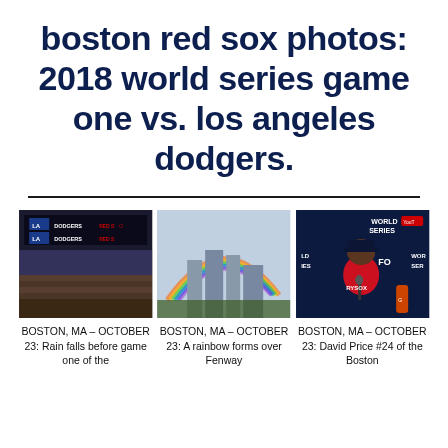boston red sox photos: 2018 world series game one vs. los angeles dodgers.
[Figure (photo): Three photos side by side: (1) Scoreboard at Fenway Park showing DODGERS vs RED SOX during rain; (2) Rainbow forming over Fenway Park; (3) David Price #24 of the Boston Red Sox at a World Series press conference]
BOSTON, MA – OCTOBER 23: Rain falls before game one of the
BOSTON, MA – OCTOBER 23: A rainbow forms over Fenway
BOSTON, MA – OCTOBER 23: David Price #24 of the Boston